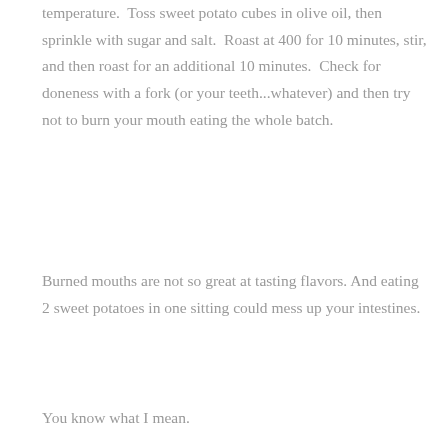temperature.  Toss sweet potato cubes in olive oil, then sprinkle with sugar and salt.  Roast at 400 for 10 minutes, stir, and then roast for an additional 10 minutes.  Check for doneness with a fork (or your teeth...whatever) and then try not to burn your mouth eating the whole batch.
Burned mouths are not so great at tasting flavors. And eating 2 sweet potatoes in one sitting could mess up your intestines.
You know what I mean.